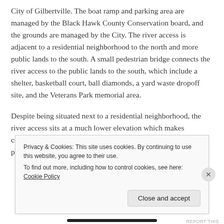City of Gilbertville. The boat ramp and parking area are managed by the Black Hawk County Conservation board, and the grounds are managed by the City. The river access is adjacent to a residential neighborhood to the north and more public lands to the south. A small pedestrian bridge connects the river access to the public lands to the south, which include a shelter, basketball court, ball diamonds, a yard waste dropoff site, and the Veterans Park memorial area.
Despite being situated next to a residential neighborhood, the river access sits at a much lower elevation which makes construction of a pedestrian trail to the neighborhood cost-prohbitive. The only way to reach the river access area and
Privacy & Cookies: This site uses cookies. By continuing to use this website, you agree to their use.
To find out more, including how to control cookies, see here: Cookie Policy